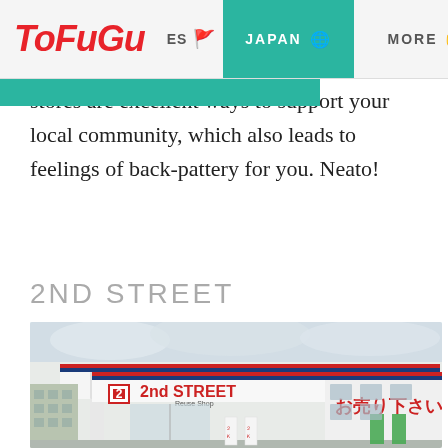TOFUGU ES JAPAN MORE
stores are excellent ways to support your local community, which also leads to feelings of back-pattery for you. Neato!
2ND STREET
[Figure (photo): Exterior photo of a 2nd STREET Reuse Shop store in Japan, showing the storefront with a white canopy, red and blue signage, and Japanese text 'お売り下さい' on the right side wall.]